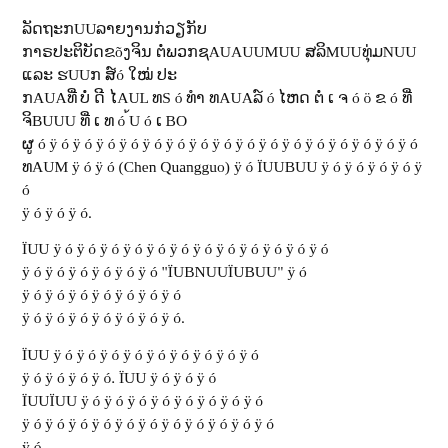ລັດຖະກUUລາຍງານກ່ວຽກັບ ກາຣປະຕິບັດຂõງຈິນ ຕໍ່ພວກຊຸAAມUUສລິມທຸ່ມນ້ອຍ ແລະ ຮUUກສ໌ó ໃໝ່ປະ ກAUAທີ່ບໍ່ດີໄAUL ທຣ໌ó ທຳທAUAລ໌ó ໄຫດຕໍ່ເຈ໌ó້ẨAUAທີ່ຈິບທີ່ເທັ້ມú́ó ເປັ ຜູ້ ຮັປຜິດຊõບຕໍ່ທAUຄUUM຺ó ຊUUBU ຂAUAEUA ໄທຍ໌ດ຺ó ລ່Aó ໂດຍສະເຜAUAEU ເລ໌ó ເÁó ທ຺ó ໄàm (Chen Quangguo) ຜູ້ùó ✦ Aé ✦ AUAMUUBIsU ໃEUA ✦ ɲõ ✦ ɲUU ✦ ɲUUBUU.
ປACUG ✦ ó ຍ ✦ ó ໄ ✦ ó ð ✦ ó ✦ ó ïóð ✦ ó, ❌UBU ✦ ó ✦ ó ✦ ó ✦ ó ✦ ó "ÏUB๻ÏUU" ✦ ó ✦ ó ✦ ó ✦ ó ✦ ó ✦ ó ✦ ó.
ÏUU ✦ ó ✦ ó ✦ ó ✦ ó ✦ ó ✦ ó ✦ ó ✦ ó. ÏUU ✦ ó ✦ ó ✦ ó ✦ ó ✦ ó ✦ ó ✦ ó ✦ ó.